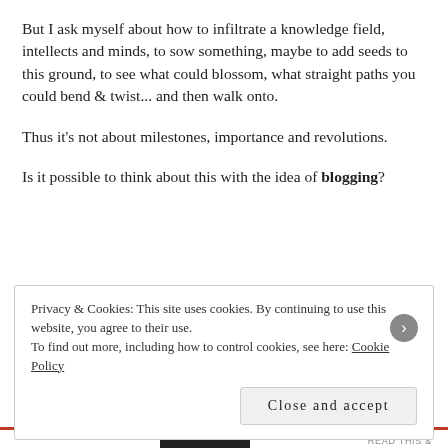But I ask myself about how to infiltrate a knowledge field, intellects and minds, to sow something, maybe to add seeds to this ground, to see what could blossom, what straight paths you could bend & twist... and then walk onto.
Thus it’s not about milestones, importance and revolutions.
Is it possible to think about this with the idea of blogging?
Privacy & Cookies: This site uses cookies. By continuing to use this website, you agree to their use.
To find out more, including how to control cookies, see here: Cookie Policy